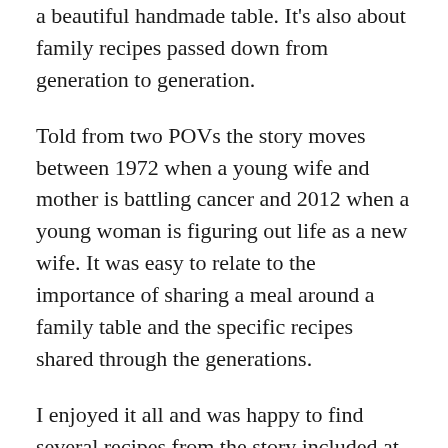a beautiful handmade table. It's also about family recipes passed down from generation to generation.
Told from two POVs the story moves between 1972 when a young wife and mother is battling cancer and 2012 when a young woman is figuring out life as a new wife. It was easy to relate to the importance of sharing a meal around a family table and the specific recipes shared through the generations.
I enjoyed it all and was happy to find several recipes from the story included at the end. The Christmas Table would be a great gift for the women's fiction book lover in your life this holiday season.